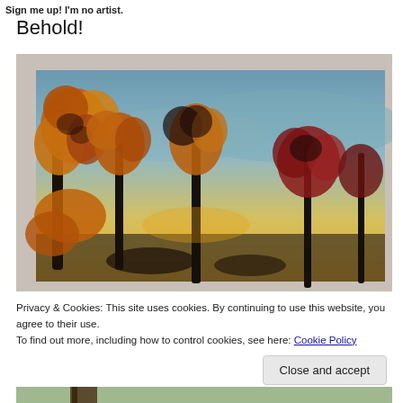Sign me up! I'm no artist.
Behold!
[Figure (photo): A painting of an autumn landscape at sunset featuring trees with orange, gold, and red foliage against a blue-yellow sky, displayed on a canvas resting on a surface.]
Privacy & Cookies: This site uses cookies. By continuing to use this website, you agree to their use.
To find out more, including how to control cookies, see here: Cookie Policy
Close and accept
[Figure (photo): Partial view of a second painting at the bottom of the page.]